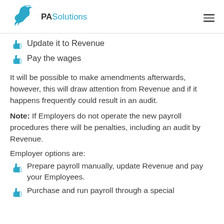PA Solutions
Update it to Revenue
Pay the wages
It will be possible to make amendments afterwards, however, this will draw attention from Revenue and if it happens frequently could result in an audit.
Note: If Employers do not operate the new payroll procedures there will be penalties, including an audit by Revenue.
Employer options are:
Prepare payroll manually, update Revenue and pay your Employees.
Purchase and run payroll through a special